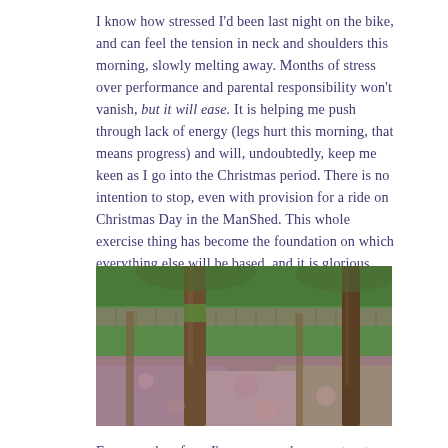I know how stressed I'd been last night on the bike, and can feel the tension in neck and shoulders this morning, slowly melting away. Months of stress over performance and parental responsibility won't vanish, but it will ease. It is helping me push through lack of energy (legs hurt this morning, that means progress) and will, undoubtedly, keep me keen as I go into the Christmas period. There is no intention to stop, even with provision for a ride on Christmas Day in the ManShed. This whole exercise thing has become the foundation on which everything else will be based, and it is glorious.
[Figure (photo): Outdoor photograph showing tree trunks in a wooded area with pink/purple fallen petals or blossoms covering the ground, with green foliage visible in the background.]
For now, therefore, I'm gonna make some toast, write